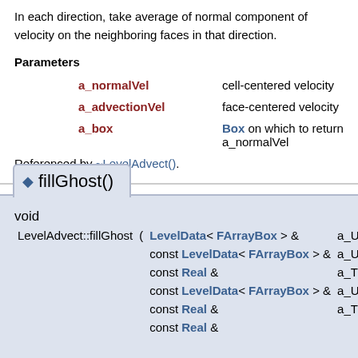In each direction, take average of normal component of velocity on the neighboring faces in that direction.
Parameters
a_normalVel - cell-centered velocity
a_advectionVel - face-centered velocity
a_box - Box on which to return a_normalVel
Referenced by ~LevelAdvect().
fillGhost()
void LevelAdvect::fillGhost ( LevelData< FArrayBox > & a_U, const LevelData< FArrayBox > & a_UCoars, const Real & a_TCoars, const LevelData< FArrayBox > & a_UCoars, const Real & a_TCoars, const Real &